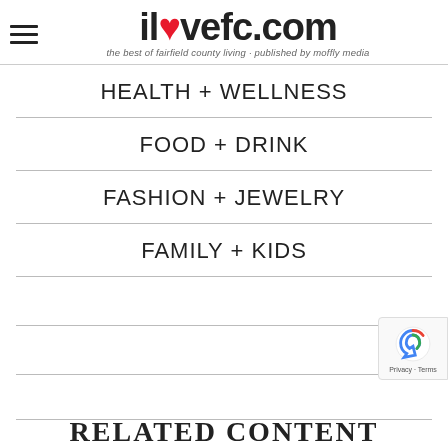ilovefc.com — the best of fairfield county living · published by moffly media
HEALTH + WELLNESS
FOOD + DRINK
FASHION + JEWELRY
FAMILY + KIDS
RELATED CONTENT